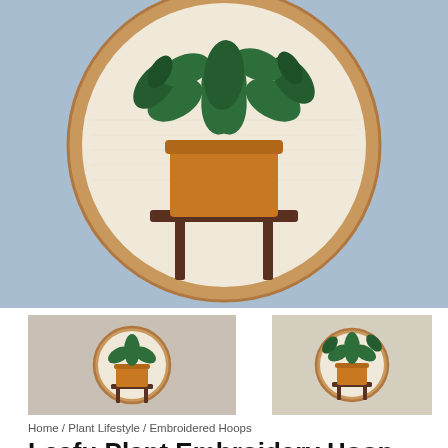[Figure (photo): Large embroidery hoop artwork showing a leafy plant in an orange pot on a brown wooden stand, displayed against a light blue background. The hoop has a natural wood frame.]
[Figure (photo): Thumbnail of a small embroidery hoop showing a small plant in a pot on a stand, natural wood hoop frame.]
[Figure (photo): Thumbnail of another embroidery hoop showing a leafy plant in an orange pot on a stand, natural wood hoop frame.]
Home / Plant Lifestyle / Embroidered Hoops
Leafu Plant Embroidery Hoop